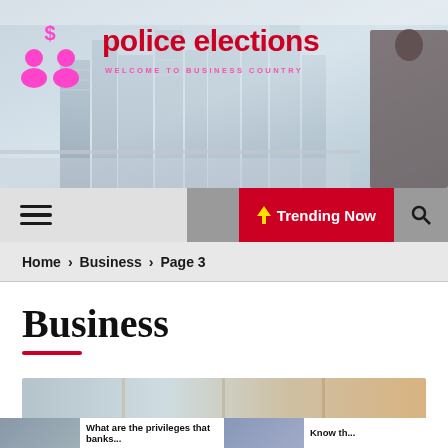[Figure (screenshot): Website banner header showing city skyline background with a man in a suit looking at the skyline, pink/magenta logo icons of people with dollar sign, site title 'police elections' in red, tagline 'WELCOME TO BUSINESS COUNTRY' in pink]
police elections
WELCOME TO BUSINESS COUNTRY
☰  🌙  ⚡ Trending Now  🔍
Home > Business > Page 3
Business
[Figure (photo): Blurred article thumbnail image strip]
What are the privileges that banks...
Know th...